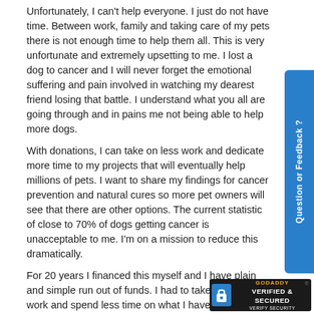Unfortunately, I can't help everyone. I just do not have time. Between work, family and taking care of my pets there is not enough time to help them all. This is very unfortunate and extremely upsetting to me. I lost a dog to cancer and I will never forget the emotional suffering and pain involved in watching my dearest friend losing that battle. I understand what you all are going through and in pains me not being able to help more dogs.
With donations, I can take on less work and dedicate more time to my projects that will eventually help millions of pets. I want to share my findings for cancer prevention and natural cures so more pet owners will see that there are other options. The current statistic of close to 70% of dogs getting cancer is unacceptable to me. I'm on a mission to reduce this dramatically.
For 20 years I financed this myself and I have plain and simple run out of funds. I had to take on more work and spend less time on what I have dedicated my life to do: Help pets live longer healthier lives.
If you have any suggestion or ideas on how to raise funds for this project please let me know.
Please help support these much-needed one-of-a-kind research projects by donating to my nonprofit
[Figure (logo): GoDaddy Verified & Secured badge in black background with padlock icon]